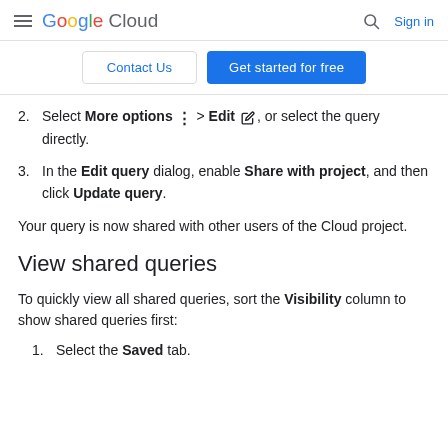Google Cloud  Sign in
Contact Us  Get started for free
2. Select More options > Edit , or select the query directly.
3. In the Edit query dialog, enable Share with project, and then click Update query.
Your query is now shared with other users of the Cloud project.
View shared queries
To quickly view all shared queries, sort the Visibility column to show shared queries first:
1. Select the Saved tab.